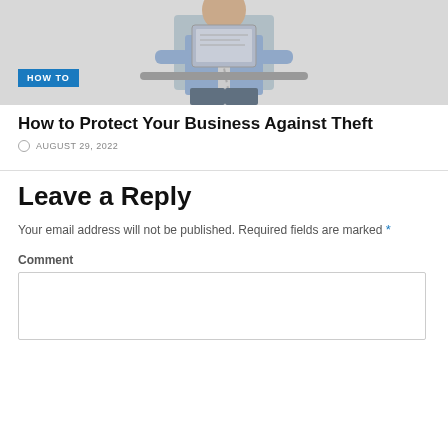[Figure (photo): Person in business attire holding a laptop, with a 'HOW TO' blue badge overlay in the bottom left of the image]
How to Protect Your Business Against Theft
AUGUST 29, 2022
Leave a Reply
Your email address will not be published. Required fields are marked *
Comment